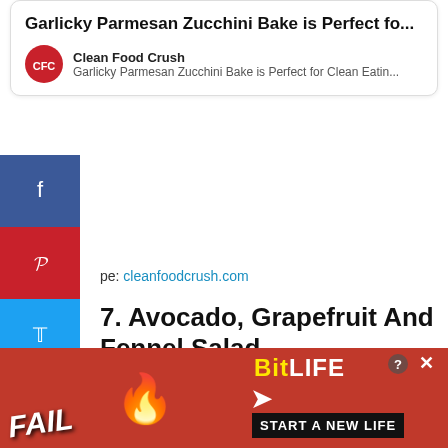[Figure (screenshot): Article card with title 'Garlicky Parmesan Zucchini Bake is Perfect fo...' and CFC (Clean Food Crush) logo with source meta]
pe: cleanfoodcrush.com
7. Avocado, Grapefruit And Fennel Salad
is a simple salad, but the flavors work so well together, and it's the perfect side salad to serve with your ribeye steak. The creamy avo, the bitterness from the grapefruit,
[Figure (screenshot): BitLife advertisement banner with 'FAIL' text, emoji, flames, BitLife logo and 'START A NEW LIFE' text]